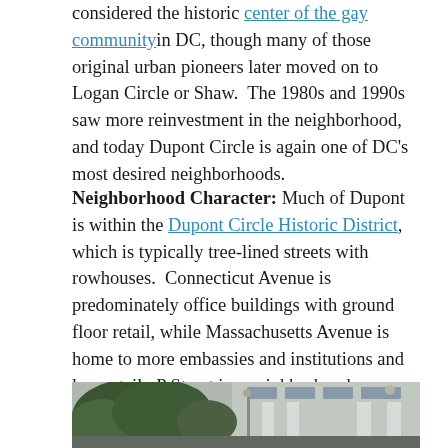considered the historic center of the gay community in DC, though many of those original urban pioneers later moved on to Logan Circle or Shaw. The 1980s and 1990s saw more reinvestment in the neighborhood, and today Dupont Circle is again one of DC's most desired neighborhoods.
Neighborhood Character: Much of Dupont is within the Dupont Circle Historic District, which is typically tree-lined streets with rowhouses. Connecticut Avenue is predominately office buildings with ground floor retail, while Massachusetts Avenue is home to more embassies and institutions and less retail. P Street is a neighborhood commercial strip on both sides of the circle, and 17th Street in between Dupont and Logan is full of restaurants and small shops.
[Figure (photo): Exterior photo of a building with columns, surrounded by trees, in an urban setting.]